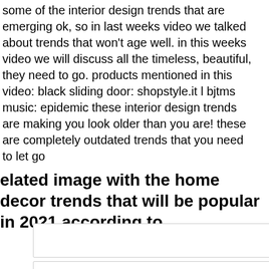some of the interior design trends that are emerging ok, so in last weeks video we talked about trends that won't age well. in this weeks video we will discuss all the timeless, beautiful, they need to go. products mentioned in this video: black sliding door: shopstyle.it l bjtms music: epidemic these interior design trends are making you look older than you are! these are completely outdated trends that you need to let go
elated image with the home decor trends that will be popular in 2021 according to
[Figure (other): Empty white rectangle box (first)]
[Figure (other): Empty white rectangle box (second, partial)]